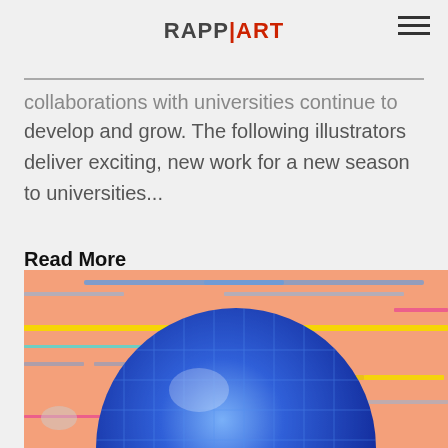Rapp|Art
collaborations with universities continue to develop and grow. The following illustrators deliver exciting, new work for a new season to universities...
Read More
[Figure (illustration): Abstract digital illustration featuring a large blue sphere with grid lines on a peach/salmon background with colorful horizontal streaks in yellow, blue, pink, and cyan.]